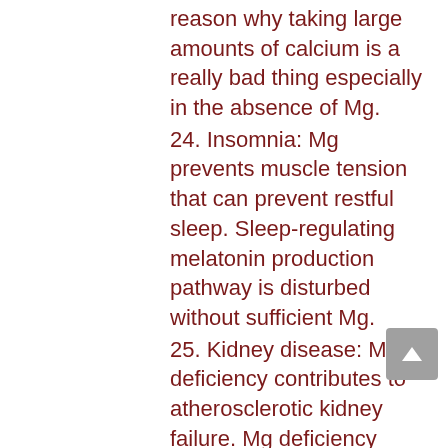reason why taking large amounts of calcium is a really bad thing especially in the absence of Mg.
24. Insomnia: Mg prevents muscle tension that can prevent restful sleep. Sleep-regulating melatonin production pathway is disturbed without sufficient Mg.
25. Kidney disease: Mg deficiency contributes to atherosclerotic kidney failure. Mg deficiency creates abnormal lipid levels and worsening blood sugar control.
26. Kidney stones: When associated with Vit B6, Mg can prevent and/or treat stones.
27. Migraines: Serotonin balance is Mg-dependent. Deficiency of serotonin can result in migraine headaches and depression. Mg also